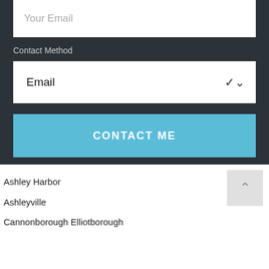Your Email
Contact Method
Email
CONTACT ME
Ashley Harbor
Ashleyville
Cannonborough Elliotborough